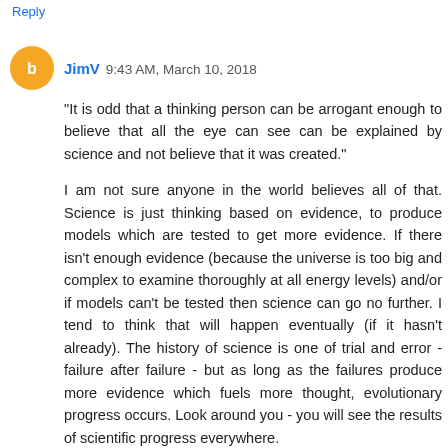Reply
JimV 9:43 AM, March 10, 2018
"It is odd that a thinking person can be arrogant enough to believe that all the eye can see can be explained by science and not believe that it was created."

I am not sure anyone in the world believes all of that. Science is just thinking based on evidence, to produce models which are tested to get more evidence. If there isn't enough evidence (because the universe is too big and complex to examine thoroughly at all energy levels) and/or if models can't be tested then science can go no further. I tend to think that will happen eventually (if it hasn't already). The history of science is one of trial and error - failure after failure - but as long as the failures produce more evidence which fuels more thought, evolutionary progress occurs. Look around you - you will see the results of scientific progress everywhere.

On the other hand, thinking without evidence or testing is much less likely to produce anything worth believing.